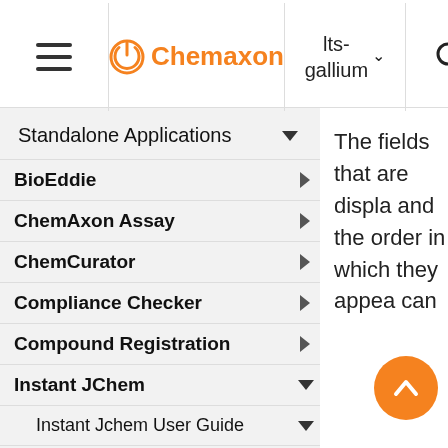Chemaxon | lts-gallium
Standalone Applications
BioEddie
ChemAxon Assay
ChemCurator
Compliance Checker
Compound Registration
Instant JChem
Instant Jchem User Guide
Getting Started
The fields that are displayed and the order in which they appear can